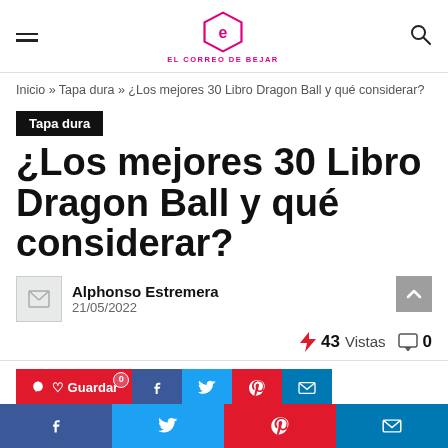EL CORREO DE BEJAR
Inicio » Tapa dura » ¿Los mejores 30 Libro Dragon Ball y qué considerar?
Tapa dura
¿Los mejores 30 Libro Dragon Ball y qué considerar?
Alphonso Estremera
21/05/2022
43 Vistas  0